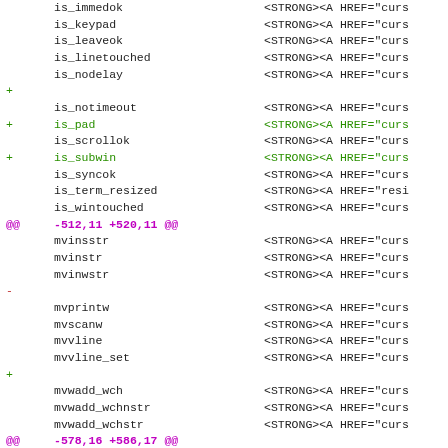Diff output showing changes to a curses/ncurses function index file, including additions of is_pad, is_subwin entries and context lines for mvinsstr through putp functions.